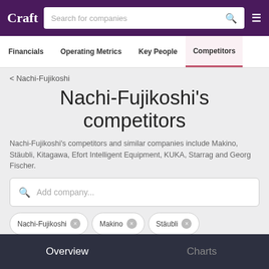Craft — Search for companies
Financials  Operating Metrics  Key People  Competitors
< Nachi-Fujikoshi
Nachi-Fujikoshi's competitors
Nachi-Fujikoshi's competitors and similar companies include Makino, Stäubli, Kitagawa, Efort Intelligent Equipment, KUKA, Starrag and Georg Fischer.
Add company...
Nachi-Fujikoshi ×
Makino ×
Stäubli ×
Overview  Charts